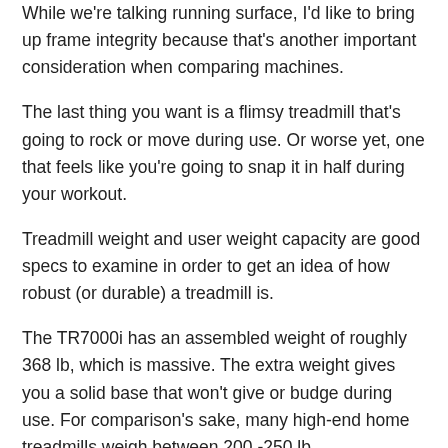While we're talking running surface, I'd like to bring up frame integrity because that's another important consideration when comparing machines.
The last thing you want is a flimsy treadmill that's going to rock or move during use. Or worse yet, one that feels like you're going to snap it in half during your workout.
Treadmill weight and user weight capacity are good specs to examine in order to get an idea of how robust (or durable) a treadmill is.
The TR7000i has an assembled weight of roughly 368 lb, which is massive. The extra weight gives you a solid base that won't give or budge during use. For comparison's sake, many high-end home treadmills weigh between 200 -250 lb.
This treadmill comes with a weight capacity of 400 lb